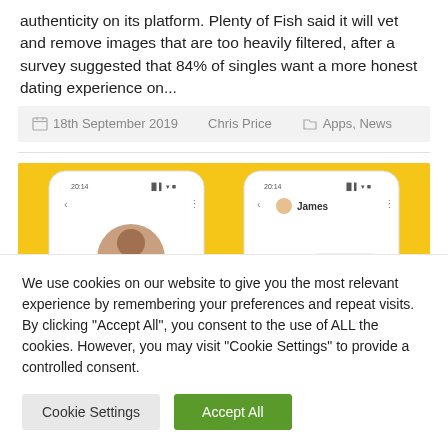authenticity on its platform. Plenty of Fish said it will vet and remove images that are too heavily filtered, after a survey suggested that 84% of singles want a more honest dating experience on...
18th September 2019   Chris Price   Apps, News
[Figure (screenshot): Two smartphones on a yellow background showing a dating app interface; one screen shows a profile photo, the other shows a chat with a user named James.]
We use cookies on our website to give you the most relevant experience by remembering your preferences and repeat visits. By clicking "Accept All", you consent to the use of ALL the cookies. However, you may visit "Cookie Settings" to provide a controlled consent.